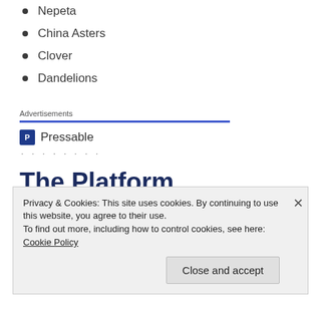Nepeta
China Asters
Clover
Dandelions
Advertisements
[Figure (logo): Pressable logo with icon and text]
The Platform
Privacy & Cookies: This site uses cookies. By continuing to use this website, you agree to their use. To find out more, including how to control cookies, see here: Cookie Policy
Close and accept